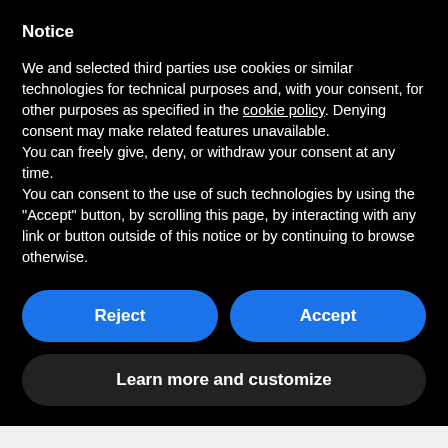Notice
We and selected third parties use cookies or similar technologies for technical purposes and, with your consent, for other purposes as specified in the cookie policy. Denying consent may make related features unavailable.
You can freely give, deny, or withdraw your consent at any time.
You can consent to the use of such technologies by using the "Accept" button, by scrolling this page, by interacting with any link or button outside of this notice or by continuing to browse otherwise.
Reject
Accept
Learn more and customize
so filthy and bedraggeld that no one would pay her any mind.